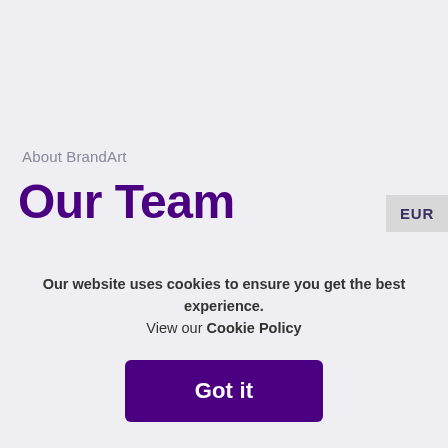About BrandArt
Our Team
EUR
+
We are hard-working, committed people doing what
Our website uses cookies to ensure you get the best experience. View our Cookie Policy
Got it